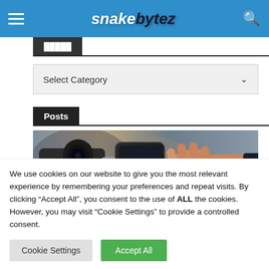snakebytez
[Figure (screenshot): Select Category dropdown UI element with a down-arrow chevron on a light gray background]
Posts
[Figure (photo): Close-up photo of a person holding a smartphone near a camera or device mount, attaching or using a mobile phone clip]
We use cookies on our website to give you the most relevant experience by remembering your preferences and repeat visits. By clicking “Accept All”, you consent to the use of ALL the cookies. However, you may visit "Cookie Settings" to provide a controlled consent.
Cookie Settings
Accept All